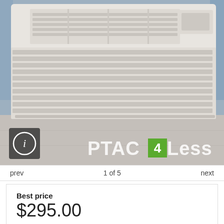[Figure (photo): PTAC air conditioning unit (white, wall-mounted style) sitting on a concrete floor, with louvers and vents visible. PTAC4Less watermark overlaid at bottom center. Info icon (circle-i) at bottom left corner.]
prev   1 of 5   next
Best price $295.00
15 In stock